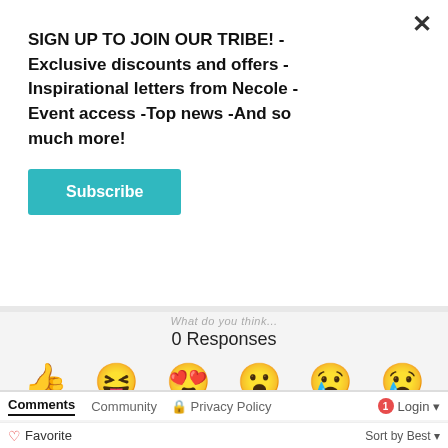SIGN UP TO JOIN OUR TRIBE! -Exclusive discounts and offers -Inspirational letters from Necole -Event access -Top news -And so much more!
Subscribe
What do you think...
0 Responses
[Figure (infographic): Six emoji reaction buttons: Upvote (thumbs up), Funny (laughing face with tongue), Love (heart eyes), Surprised (wow face), Angry (crying/angry face), Sad (sad face with tear)]
Comments  Community  Privacy Policy  1 Login
Favorite  Sort by Best
[Figure (infographic): European Wax Center advertisement banner: EXPERIENCE A NEW STATE OF smooth - FIRST WAX free - BOOK NOW]